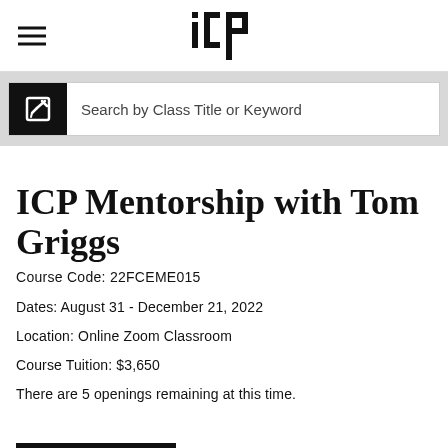ICP
Search by Class Title or Keyword
ICP Mentorship with Tom Griggs
Course Code: 22FCEME015
Dates: August 31 - December 21, 2022
Location: Online Zoom Classroom
Course Tuition: $3,650
There are 5 openings remaining at this time.